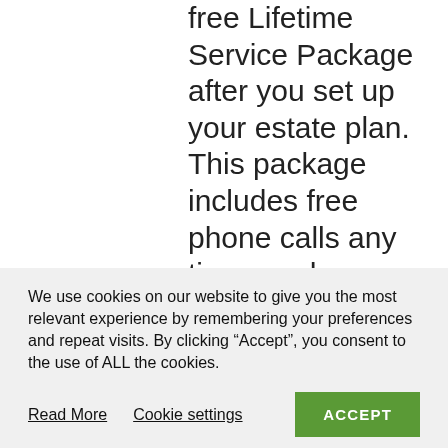free Lifetime Service Package after you set up your estate plan. This package includes free phone calls any time you have a question, free trust review meetings with an attorney every
We use cookies on our website to give you the most relevant experience by remembering your preferences and repeat visits. By clicking “Accept”, you consent to the use of ALL the cookies.
Read More  Cookie settings  ACCEPT